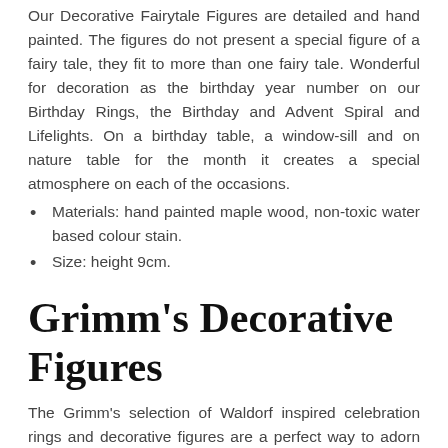Our Decorative Fairytale Figures are detailed and hand painted. The figures do not present a special figure of a fairy tale, they fit to more than one fairy tale. Wonderful for decoration as the birthday year number on our Birthday Rings, the Birthday and Advent Spiral and Lifelights. On a birthday table, a window-sill and on nature table for the month it creates a special atmosphere on each of the occasions.
Materials: hand painted maple wood, non-toxic water based colour stain.
Size: height 9cm.
Grimm's Decorative Figures
The Grimm's selection of Waldorf inspired celebration rings and decorative figures are a perfect way to adorn the table for any family birthday or festive celebrations. They can also be used to welcome the arrival of a new season, or simply to